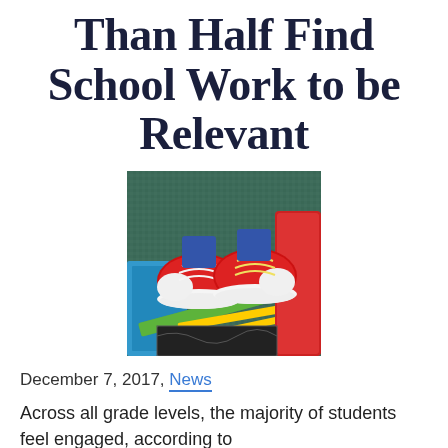Than Half Find School Work to be Relevant
[Figure (photo): Overhead view of red sneakers/canvas shoes with white laces resting on school supplies including notebooks, pencils, and a green ruler on a textured background]
December 7, 2017, News
Across all grade levels, the majority of students feel engaged, according to